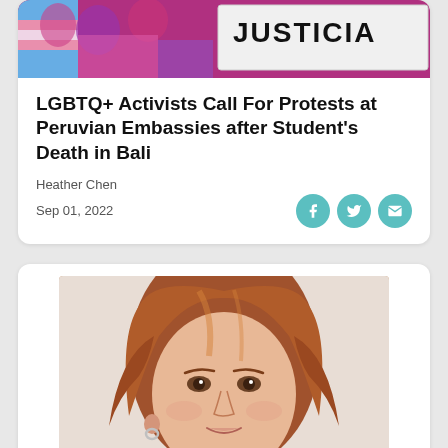[Figure (photo): Protest scene with people holding a sign reading JUSTICIA]
LGBTQ+ Activists Call For Protests at Peruvian Embassies after Student's Death in Bali
Heather Chen
Sep 01, 2022
[Figure (photo): Close-up portrait of a young woman with long auburn/red hair, smiling slightly, wearing a small hoop earring]